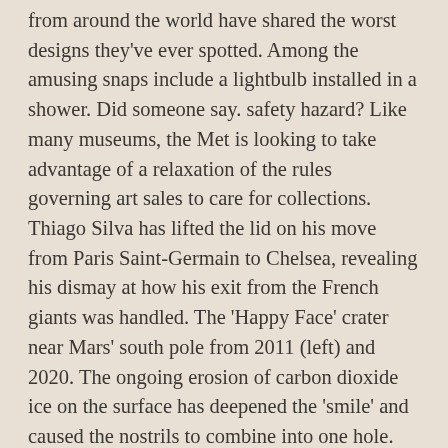from around the world have shared the worst designs they've ever spotted. Among the amusing snaps include a lightbulb installed in a shower. Did someone say. safety hazard? Like many museums, the Met is looking to take advantage of a relaxation of the rules governing art sales to care for collections. Thiago Silva has lifted the lid on his move from Paris Saint-Germain to Chelsea, revealing his dismay at how his exit from the French giants was handled. The 'Happy Face' crater near Mars' south pole from 2011 (left) and 2020. The ongoing erosion of carbon dioxide ice on the surface has deepened the 'smile' and caused the nostrils to combine into one hole. The former TOWIE star, 33, showed off her slimmed-down figure as she uploaded snaps from her 'work' trip to Mexico to Instagram on Tuesday. The Law Commission had proposed extending hate crime laws into private houses, meaning heated dinner party conversations could have landed the hosts or guests with a police probe or even jail. BP and Total plan to spend billions of dollars